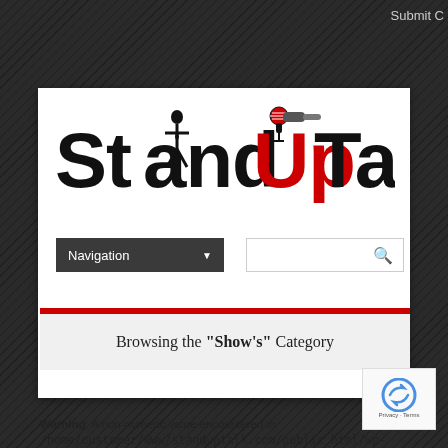Submit C
[Figure (logo): StandUpTalk logo with silhouette figure and microphone graphic, text reads StandUpTalk in bold black and red]
Navigation
Browsing the "Show's" Category
Warning: A non-numeric value encountered in /home/customer/www/standuptalk.com/public_html/wp-